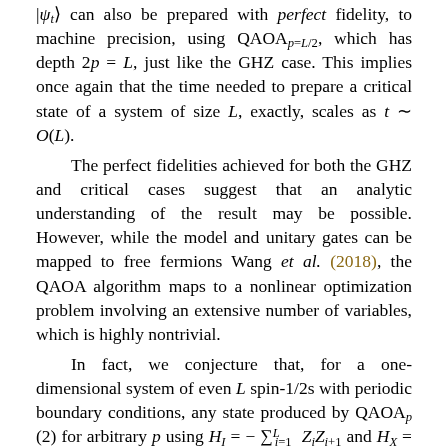|ψ_t⟩ can also be prepared with perfect fidelity, to machine precision, using QAOA_{p=L/2}, which has depth 2p = L, just like the GHZ case. This implies once again that the time needed to prepare a critical state of a system of size L, exactly, scales as t ~ O(L).
The perfect fidelities achieved for both the GHZ and critical cases suggest that an analytic understanding of the result may be possible. However, while the model and unitary gates can be mapped to free fermions Wang et al. (2018), the QAOA algorithm maps to a nonlinear optimization problem involving an extensive number of variables, which is highly nontrivial.
In fact, we conjecture that, for a one-dimensional system of even L spin-1/2s with periodic boundary conditions, any state produced by QAOA_p (2) for arbitrary p using H_I = -sum_{i=1}^{L} Z_i Z_{i+1} and H_X = -sum_{i=1}^{L} X_i, can also be achieved perfectly by QAOA_{p=L/2}, the protocol at p = L/2. This would imply that we can achieve the ground state of the TFIM...